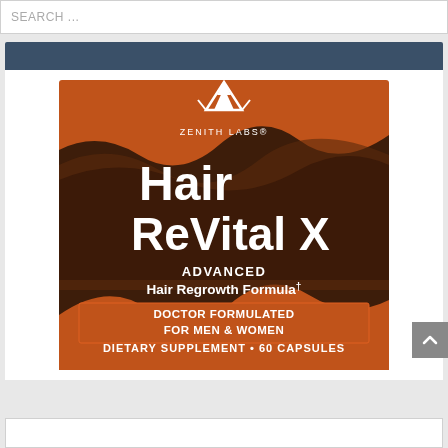SEARCH ...
[Figure (photo): Product box of Hair ReVital X by Zenith Labs. Orange and dark brown packaging showing a mountain logo, the text 'Hair ReVital X', 'ADVANCED Hair Regrowth Formula†', 'DOCTOR FORMULATED FOR MEN & WOMEN', and 'DIETARY SUPPLEMENT • 60 CAPSULES'.]